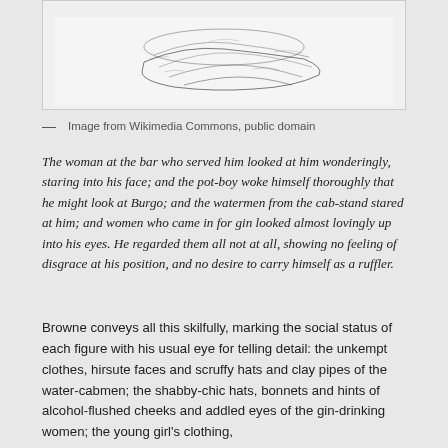[Figure (illustration): A black and white sketch/engraving illustration showing figures, partially visible at top of page]
— Image from Wikimedia Commons, public domain
The woman at the bar who served him looked at him wonderingly, staring into his face; and the pot-boy woke himself thoroughly that he might look at Burgo; and the watermen from the cab-stand stared at him; and women who came in for gin looked almost lovingly up into his eyes. He regarded them all not at all, showing no feeling of disgrace at his position, and no desire to carry himself as a ruffler.
Browne conveys all this skilfully, marking the social status of each figure with his usual eye for telling detail: the unkempt clothes, hirsute faces and scruffy hats and clay pipes of the water-cabmen; the shabby-chic hats, bonnets and hints of alcohol-flushed cheeks and addled eyes of the gin-drinking women; the young girl's clothing, described in the earlier street scene, quoted in my